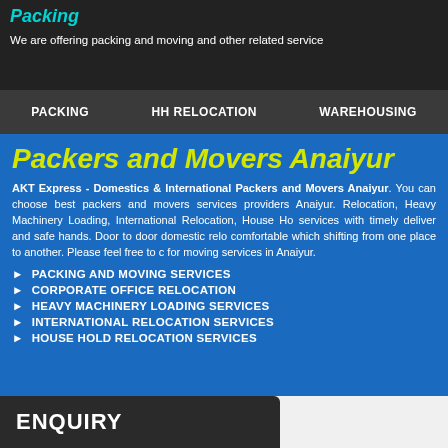Packing - We are offering packing and moving and other related service
PACKING   HH RELOCATION   WAREHOUSING
Packers and Movers Anaiyur
AKT Express - Domestics & International Packers and Movers Anaiyur. You can choose best packers and movers services providers Anaiyur. Relocation, Heavy Machinery Loading, International Relocation, House Hold services with timely deliver and safe hands. Door to door domestic relocation comfortable which shifting from one place to another. Please feel free to contact for moving services in Anaiyur.
PACKING AND MOVING SERVICES
CORPORATE OFFICE RELOCATION
HEAVY MACHINERY LOADING SERVICES
INTERNATIONAL RELOCATION SERVICES
HOUSE HOLD RELOCATION SERVICES
ENQUIRY